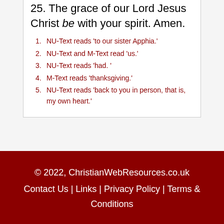25. The grace of our Lord Jesus Christ be with your spirit. Amen.
1. NU-Text reads 'to our sister Apphia.'
2. NU-Text and M-Text read 'us.'
3. NU-Text reads 'had. '
4. M-Text reads 'thanksgiving.'
5. NU-Text reads 'back to you in person, that is, my own heart.'
© 2022, ChristianWebResources.co.uk Contact Us | Links | Privacy Policy | Terms & Conditions